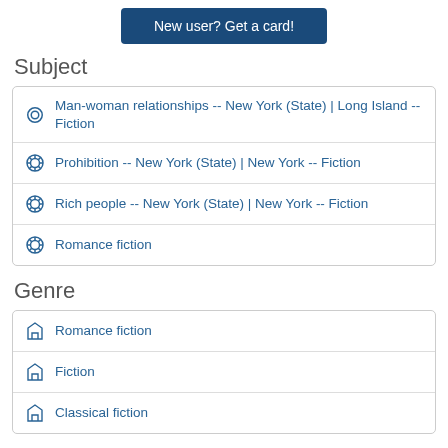[Figure (other): Blue button labeled 'New user? Get a card!']
Subject
Man-woman relationships -- New York (State) | Long Island -- Fiction
Prohibition -- New York (State) | New York -- Fiction
Rich people -- New York (State) | New York -- Fiction
Romance fiction
Genre
Romance fiction
Fiction
Classical fiction
</> Embed
Library locations...